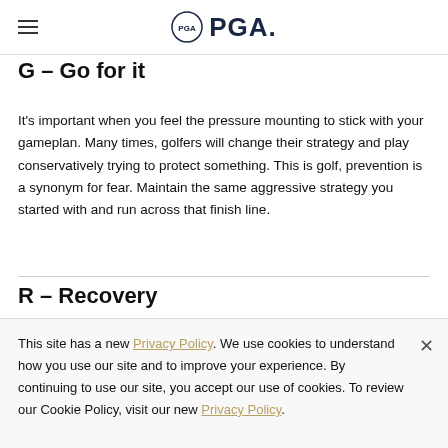PGA
G – Go for it
It's important when you feel the pressure mounting to stick with your gameplan. Many times, golfers will change their strategy and play conservatively trying to protect something. This is golf, prevention is a synonym for fear. Maintain the same aggressive strategy you started with and run across that finish line.
R – Recovery
This site has a new Privacy Policy. We use cookies to understand how you use our site and to improve your experience. By continuing to use our site, you accept our use of cookies. To review our Cookie Policy, visit our new Privacy Policy.